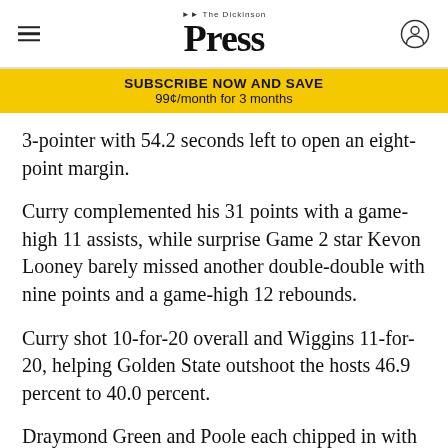The Dickinson Press
SUBSCRIBE NOW AND SAVE
99¢/month for 3 months
3-pointer with 54.2 seconds left to open an eight-point margin.
Curry complemented his 31 points with a game-high 11 assists, while surprise Game 2 star Kevon Looney barely missed another double-double with nine points and a game-high 12 rebounds.
Curry shot 10-for-20 overall and Wiggins 11-for-20, helping Golden State outshoot the hosts 46.9 percent to 40.0 percent.
Draymond Green and Poole each chipped in with 10 points for Golden State, which won a road game